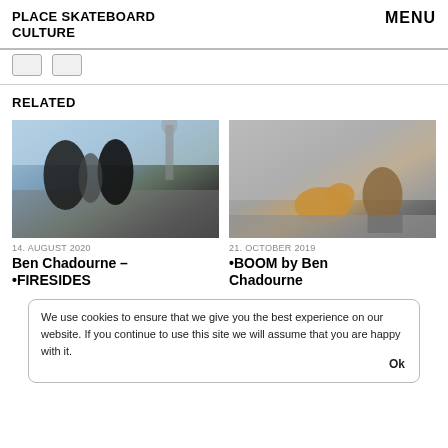PLACE SKATEBOARD CULTURE
MENU
RELATED
[Figure (photo): Two skateboarders interacting outdoors in a plaza with a statue in the background]
14. AUGUST 2020
Ben Chadourne – •FIRESIDES
[Figure (photo): A man crouching near a dog at a skate spot near a wall]
21. OCTOBER 2019
•BOOM by Ben Chadourne
We use cookies to ensure that we give you the best experience on our website. If you continue to use this site we will assume that you are happy with it.
Ok